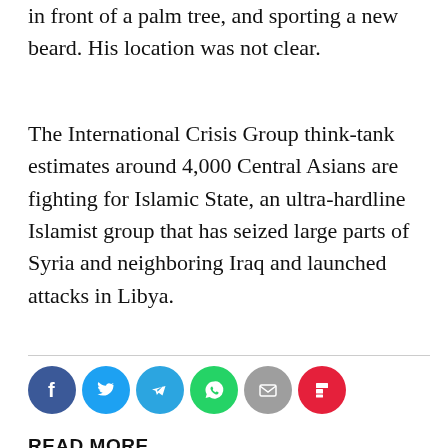in front of a palm tree, and sporting a new beard. His location was not clear.
The International Crisis Group think-tank estimates around 4,000 Central Asians are fighting for Islamic State, an ultra-hardline Islamist group that has seized large parts of Syria and neighboring Iraq and launched attacks in Libya.
[Figure (infographic): Social media sharing icons: Facebook (blue circle), Twitter (light blue circle), Telegram (blue circle), WhatsApp (green circle), Email (grey circle), Flipboard (red circle)]
READ MORE
SPYING SUSPICION
Russians, Ukrainian Arrested Trying to